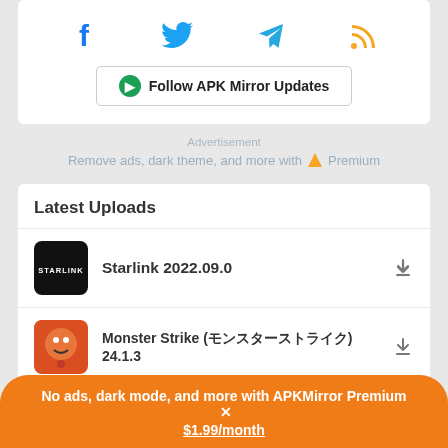[Figure (infographic): Social media icons: Facebook (blue), Twitter (blue bird), Telegram (blue paper plane), RSS (orange)]
[Figure (infographic): Follow APK Mirror Updates button with Pushbullet green circle icon]
Advertisement
Remove ads, dark theme, and more with ▲ Premium
Latest Uploads
Starlink 2022.09.0
Monster Strike (モンスターストライク) 24.1.3
No ads, dark mode, and more with APKMirror Premium ✕
$1.99/month